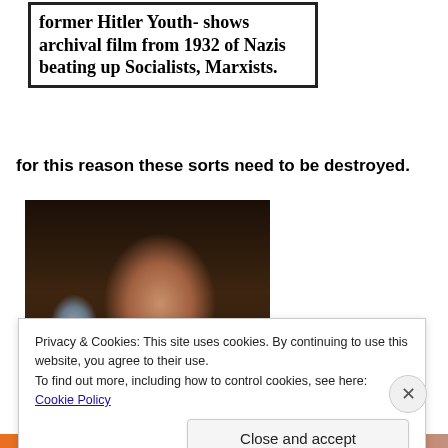[Figure (screenshot): News headline clipping in a bordered box: 'former Hitler Youth- shows archival film from 1932 of Nazis beating up Socialists, Marxists.']
for this reason these sorts need to be destroyed.
[Figure (photo): Manipulated/satirical photo of a woman with vampire teeth holding a gun and a red object, dark background.]
Privacy & Cookies: This site uses cookies. By continuing to use this website, you agree to their use.
To find out more, including how to control cookies, see here: Cookie Policy
Close and accept